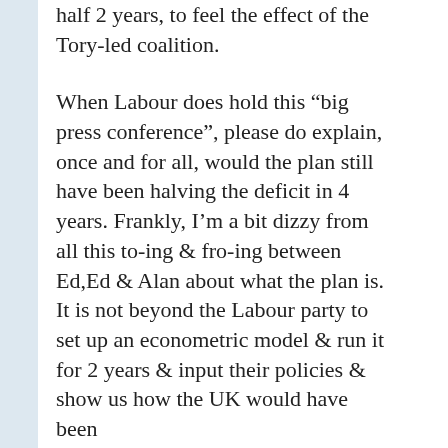half 2 years, to feel the effect of the Tory-led coalition.
When Labour does hold this “big press conference”, please do explain, once and for all, would the plan still have been halving the deficit in 4 years. Frankly, I’m a bit dizzy from all this to-ing & fro-ing between Ed,Ed & Alan about what the plan is. It is not beyond the Labour party to set up an econometric model & run it for 2 years & input their policies & show us how the UK would have been